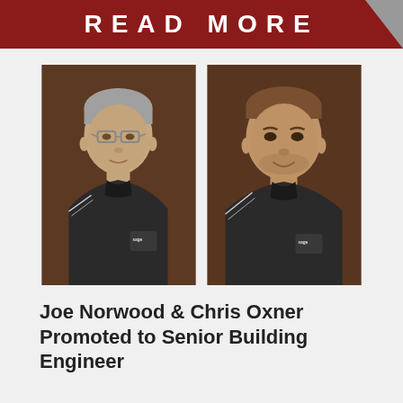READ MORE
[Figure (photo): Professional headshots of two men in dark polo shirts with 'sage' logo. Left: older man with glasses and grey hair. Right: younger man with shaved head.]
Joe Norwood & Chris Oxner Promoted to Senior Building Engineer